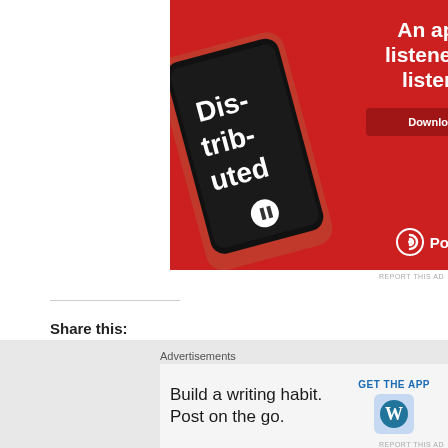[Figure (photo): Pocket Casts advertisement banner on red background showing a smartphone with the app and text 'An app by listeners, for listeners.' with a Download now button and Pocket Casts logo]
REPORT THIS AD
Share this:
[Figure (infographic): Social sharing buttons: Twitter (blue circle with bird icon), Facebook (blue circle with f icon), and a More button with share icon]
Advertisements
[Figure (infographic): WordPress advertisement: Build a writing habit. Post on the go. GET THE APP with WordPress logo]